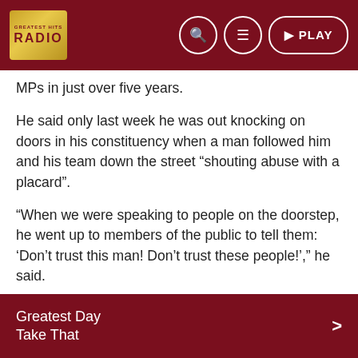RADIO [nav bar with search, menu, PLAY]
MPs in just over five years.
He said only last week he was out knocking on doors in his constituency when a man followed him and his team down the street “shouting abuse with a placard”.
“When we were speaking to people on the doorstep, he went up to members of the public to tell them: ‘Don’t trust this man! Don’t trust these people!’,” he said.
“It was extremely violent and aggressive – you couldn’t tell whether or not he had something going on in his life – but it clearly wasn’t a person who was at ease with himself, or indeed society.”
Mr Benton said he called on the police to “have a word with
Greatest Day
Take That